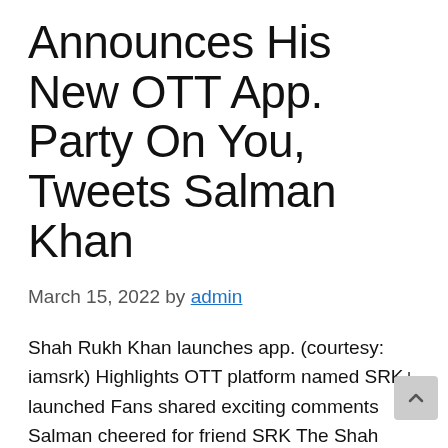Announces His New OTT App. Party On You, Tweets Salman Khan
March 15, 2022 by admin
Shah Rukh Khan launches app. (courtesy: iamsrk) Highlights OTT platform named SRK+ launched Fans shared exciting comments Salman cheered for friend SRK The Shah Rukh Khan social media drought has ended and its place is a Shah Rukh Khan blitz. We're not complaining because the latest SRK announcement is OTT-related, namely the launch of something … Read